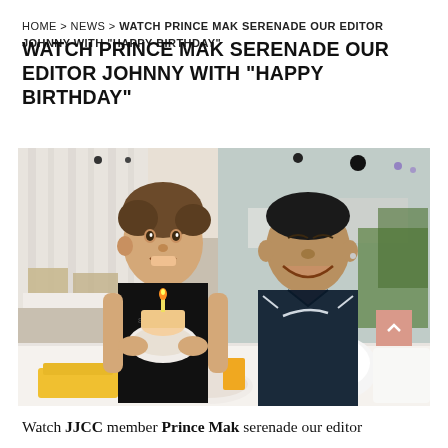HOME > NEWS > WATCH PRINCE MAK SERENADE OUR EDITOR JOHNNY WITH "HAPPY BIRTHDAY"
[Figure (photo): Two people sitting at a restaurant table. The person on the left, wearing a black sleeveless shirt, is holding a small cake with a candle and smiling. The person on the right, wearing a dark navy polo shirt, is smiling. The table has cups, orange juice, and food. The restaurant background shows white tablecloth-covered tables and a mirror wall.]
Watch JJCC member Prince Mak serenade our editor